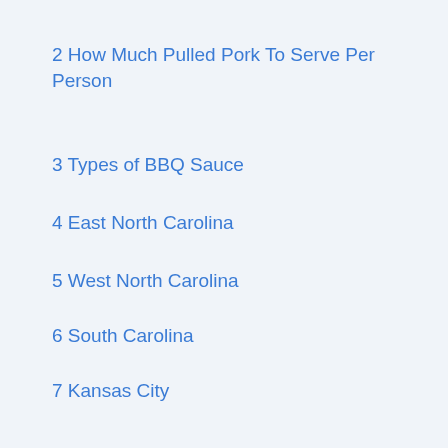2 How Much Pulled Pork To Serve Per Person
3 Types of BBQ Sauce
4 East North Carolina
5 West North Carolina
6 South Carolina
7 Kansas City
8 Memphis
9 Texas
10 Alabama
11 How Much BBQ Sauce for Pulled